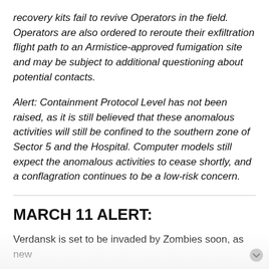recovery kits fail to revive Operators in the field. Operators are also ordered to reroute their exfiltration flight path to an Armistice-approved fumigation site and may be subject to additional questioning about potential contacts.
Alert: Containment Protocol Level has not been raised, as it is still believed that these anomalous activities will still be confined to the southern zone of Sector 5 and the Hospital. Computer models still expect the anomalous activities to cease shortly, and a conflagration continues to be a low-risk concern.
MARCH 11 ALERT:
Verdansk is set to be invaded by Zombies soon, as new